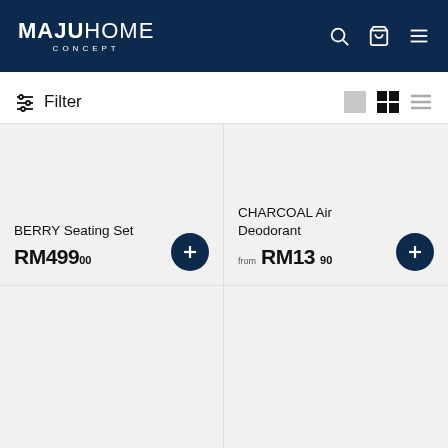MAJUHOME CONCEPT
Filter
[Figure (screenshot): BERRY Seating Set product card showing price RM499.00]
BERRY Seating Set
RM499.00
[Figure (screenshot): CHARCOAL Air Deodorant product card showing price from RM13.90]
CHARCOAL Air Deodorant
from RM13.90
[Figure (screenshot): Third product card (bottom left), content not visible]
[Figure (screenshot): Fourth product card (bottom right), content not visible]